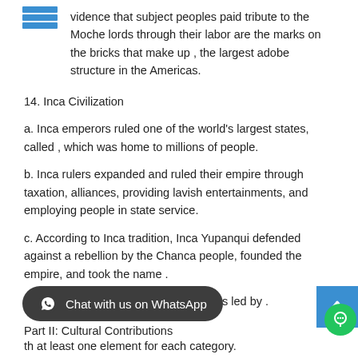vidence that subject peoples paid tribute to the Moche lords through their labor are the marks on the bricks that make up , the largest adobe structure in the Americas.
14. Inca Civilization
a. Inca emperors ruled one of the world's largest states, called , which was home to millions of people.
b. Inca rulers expanded and ruled their empire through taxation, alliances, providing lavish entertainments, and employing people in state service.
c. According to Inca tradition, Inca Yupanqui defended against a rebellion by the Chanca people, founded the empire, and took the name .
d. The Inca Empire fell to conquistadors led by .
Part II: Cultural Contributions
th at least one element for each category.